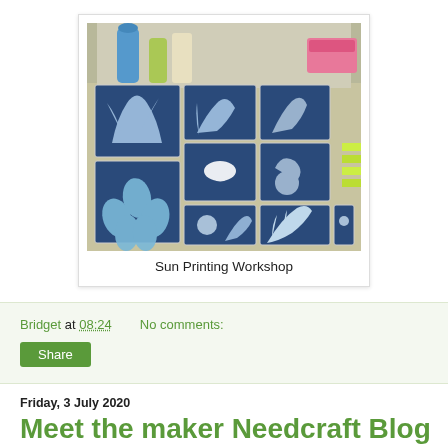[Figure (photo): Photo of a sun printing workshop table covered with cyanotype prints showing white plant silhouettes on deep blue backgrounds, arranged in a grid on a newspaper-covered table with art supplies in the background.]
Sun Printing Workshop
Bridget at 08:24    No comments:
Share
Friday, 3 July 2020
Meet the maker Needcraft Blog